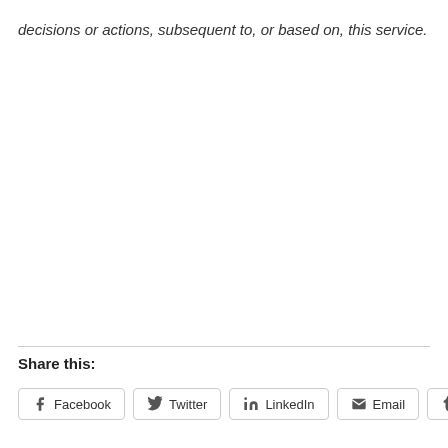decisions or actions, subsequent to, or based on, this service.
Share this:
Facebook  Twitter  LinkedIn  Email  Tumblr